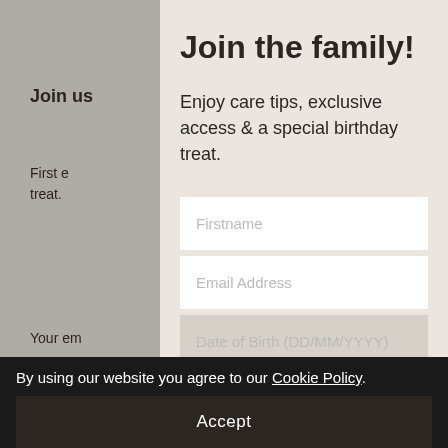Join the family!
Enjoy care tips, exclusive access & a special birthday treat.
Firstname
Email Address
Date of Birth (DD/MM/YYYY)
By using our website you agree to our Cookie Policy.
Accept